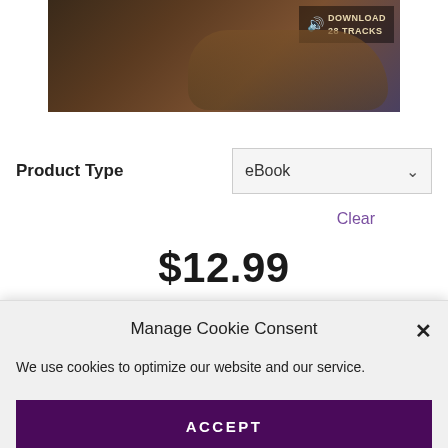[Figure (photo): Product image showing hands on a surface, with 'DOWNLOAD 28 TRACKS' badge in top right corner]
Product Type
eBook
Clear
$12.99
ADD TO CART
Manage Cookie Consent
We use cookies to optimize our website and our service.
ACCEPT